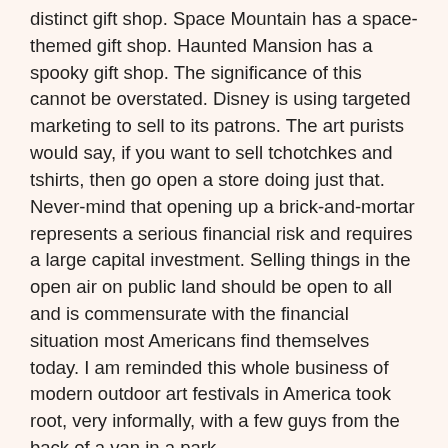distinct gift shop. Space Mountain has a space-themed gift shop. Haunted Mansion has a spooky gift shop. The significance of this cannot be overstated. Disney is using targeted marketing to sell to its patrons. The art purists would say, if you want to sell tchotchkes and tshirts, then go open a store doing just that. Never-mind that opening up a brick-and-mortar represents a serious financial risk and requires a large capital investment. Selling things in the open air on public land should be open to all and is commensurate with the financial situation most Americans find themselves today. I am reminded this whole business of modern outdoor art festivals in America took root, very informally, with a few guys from the back of a van in a park.
The writing may be on the wall. Many folks on here have commented that artists in the festival circuit are aging. Newer younger artists seem to be fewer and farther between. Sure, there are more and more artists applying to shows, but many of these are older folks who've changed careers or retired and are giving it a try. Many artists are reporting average yearly sales are down year over year. It